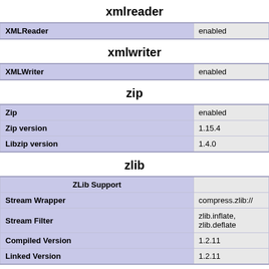xmlreader
| XMLReader | enabled |
| --- | --- |
xmlwriter
| XMLWriter | enabled |
| --- | --- |
zip
| Zip | enabled |
| Zip version | 1.15.4 |
| Libzip version | 1.4.0 |
zlib
| ZLib Support |  |
| --- | --- |
| Stream Wrapper | compress.zlib:// |
| Stream Filter | zlib.inflate, zlib.deflate |
| Compiled Version | 1.2.11 |
| Linked Version | 1.2.11 |